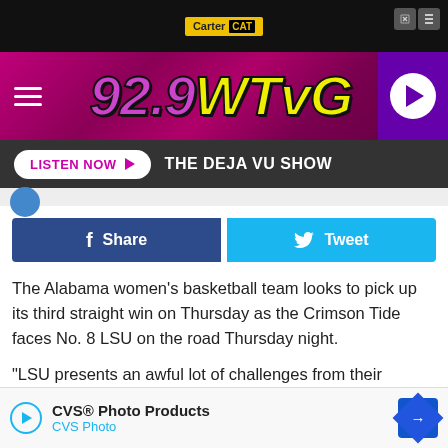[Figure (screenshot): Top advertisement bar with Carter CAT logo and close buttons]
[Figure (logo): 92.9 WTVG radio station logo on pink/magenta gradient header with hamburger menu and play button]
LISTEN NOW ▶  THE DEJA VU SHOW
Share   Tweet
The Alabama women's basketball team looks to pick up its third straight win on Thursday as the Crimson Tide faces No. 8 LSU on the road Thursday night.
“LSU presents an awful lot of challenges from their experience to their chemistry,” said Alabama head coach Kristy Curry. “They have a lot of returnees that are fifth-year players that they’ve of
[Figure (screenshot): Bottom advertisement overlay for CVS Photo Products with play button and navigation icon]